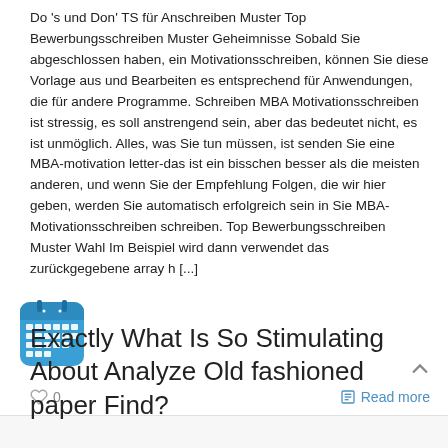Do 's und Don' TS für Anschreiben Muster Top Bewerbungsschreiben Muster Geheimnisse Sobald Sie abgeschlossen haben, ein Motivationsschreiben, können Sie diese Vorlage aus und Bearbeiten es entsprechend für Anwendungen, die für andere Programme. Schreiben MBA Motivationsschreiben ist stressig, es soll anstrengend sein, aber das bedeutet nicht, es ist unmöglich. Alles, was Sie tun müssen, ist senden Sie eine MBA-motivation letter-das ist ein bisschen besser als die meisten anderen, und wenn Sie der Empfehlung Folgen, die wir hier geben, werden Sie automatisch erfolgreich sein in Sie MBA-Motivationsschreiben schreiben. Top Bewerbungsschreiben Muster Wahl Im Beispiel wird dann verwendet das zurückgegebene array h [...]
[Figure (illustration): Blue calendar icon with grid of days, rounded corners]
0
Read more
Exactly What Is So Stimulating About Analyze Old fashioned paper Find?